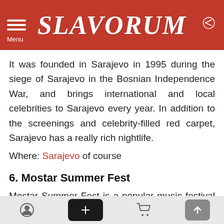SLAVORUM
It was founded in Sarajevo in 1995 during the siege of Sarajevo in the Bosnian Independence War, and brings international and local celebrities to Sarajevo every year. In addition to the screenings and celebrity-filled red carpet, Sarajevo has a really rich nightlife.
Where: Sarajevo of course
6. Mostar Summer Fest
Mostar Summer Fest is a popular music festival held in Mostar, Herzegovina with a line-up always filled